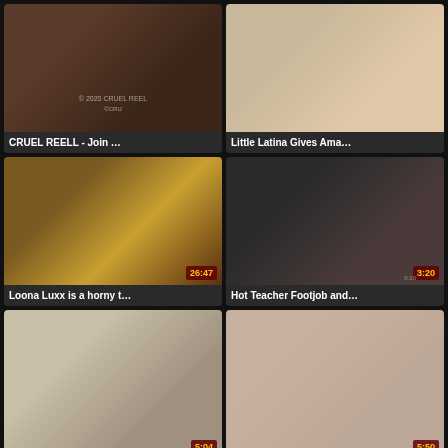[Figure (screenshot): Video thumbnail 1: CRUEL REELL - Join ... (no duration shown)]
CRUEL REELL - Join …
[Figure (screenshot): Video thumbnail 2: Little Latina Gives Ama... (no duration shown)]
Little Latina Gives Ama…
[Figure (screenshot): Video thumbnail 3: Loona Luxx is a horny t... duration 26:47]
Loona Luxx is a horny t…
[Figure (screenshot): Video thumbnail 4: Hot Teacher Footjob and... duration 3:20]
Hot Teacher Footjob and…
[Figure (screenshot): Video thumbnail 5: (partial, bottom row left) duration 5:04]
[Figure (screenshot): Video thumbnail 6: (partial, bottom row right) duration 5:50]